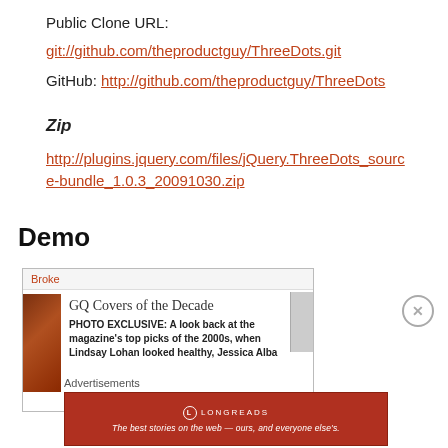Public Clone URL:
git://github.com/theproductguy/ThreeDots.git
GitHub: http://github.com/theproductguy/ThreeDots
Zip
http://plugins.jquery.com/files/jQuery.ThreeDots_source-bundle_1.0.3_20091030.zip
Demo
[Figure (screenshot): Screenshot of a demo showing a GQ Covers of the Decade article with a thumbnail image on the left and truncated text on the right.]
Advertisements
[Figure (illustration): Longreads advertisement banner: 'The best stories on the web — ours, and everyone else's.']